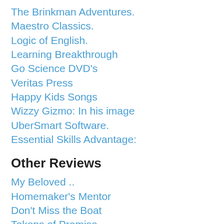The Brinkman Adventures.
Maestro Classics.
Logic of English.
Learning Breakthrough
Go Science DVD's
Veritas Press
Happy Kids Songs
Wizzy Gizmo: In his image
UberSmart Software.
Essential Skills Advantage:
Other Reviews
My Beloved ..
Homemaker's Mentor
Don't Miss the Boat
Tokens of Promise
Biff and Becka's ....
A Child's Geography
Homeless at Harvard
30 Days of Bible Study...